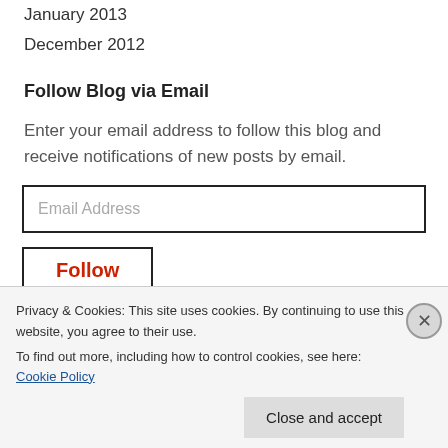January 2013
December 2012
Follow Blog via Email
Enter your email address to follow this blog and receive notifications of new posts by email.
Email Address
Follow
Privacy & Cookies: This site uses cookies. By continuing to use this website, you agree to their use.
To find out more, including how to control cookies, see here: Cookie Policy
Close and accept